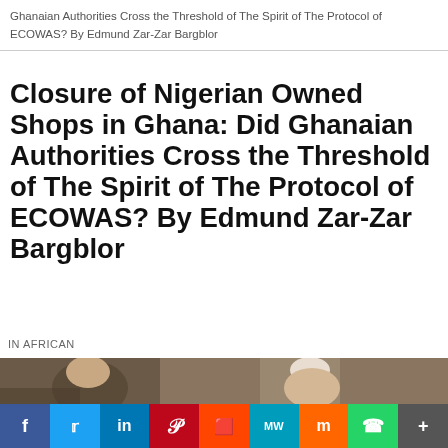Closure of Nigerian Owned Shops in Ghana: Did Ghanaian Authorities Cross the Threshold of The Spirit of The Protocol of ECOWAS? By Edmund Zar-Zar Bargblor
Closure of Nigerian Owned Shops in Ghana: Did Ghanaian Authorities Cross the Threshold of The Spirit of The Protocol of ECOWAS? By Edmund Zar-Zar Bargblor
IN AFRICAN
[Figure (photo): Two men in formal attire shaking hands or greeting each other indoors; one wears a white traditional cap.]
f  Twitter  in  Pinterest  Reddit  MW  Mix  WhatsApp  +